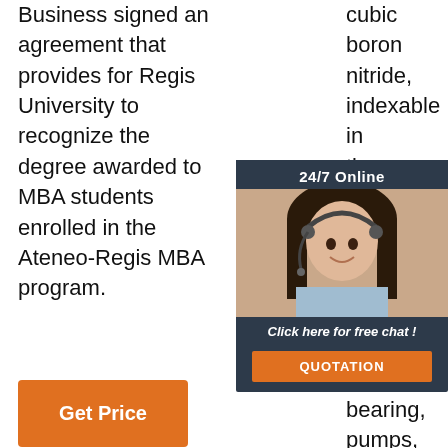Business signed an agreement that provides for Regis University to recognize the degree awarded to MBA students enrolled in the Ateneo-Regis MBA program.
[Figure (infographic): Orange 'Get Price' button]
cubic boron nitride, indexable inserts with tipped tools, product cuts, where in fine machining, turning, bearing, pumps, automobile brake disk, aircraft jet
[Figure (infographic): 24/7 Online chat advertisement overlay with a woman wearing a headset and a 'Click here for free chat!' message with QUOTATION button and TOP logo]